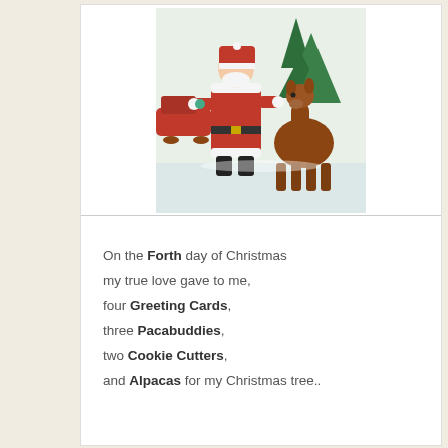[Figure (illustration): Illustrated painting of Santa Claus in red suit feeding or greeting a brown alpaca, with a red sleigh and green Christmas trees in the background, snowy scene.]
On the Forth day of Christmas my true love gave to me, four Greeting Cards, three Pacabuddies, two Cookie Cutters, and Alpacas for my Christmas tree..